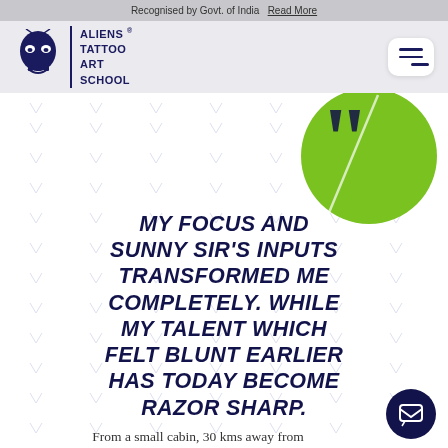Recognised by Govt. of India  Read More
[Figure (logo): Aliens Tattoo Art School logo with alien skull icon and text ALIENS TATTOO ART SCHOOL]
MY FOCUS AND SUNNY SIR'S INPUTS TRANSFORMED ME COMPLETELY. WHILE MY TALENT WHICH FELT BLUNT EARLIER HAS TODAY BECOME RAZOR SHARP.
From a small cabin, 30 kms away from